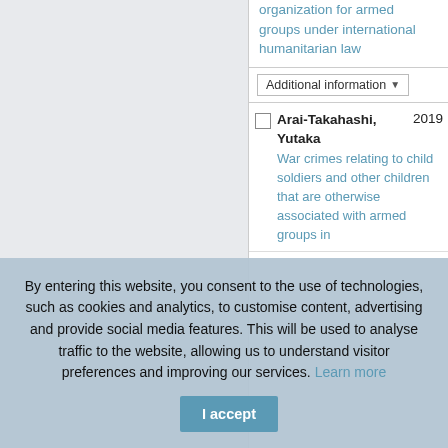organization for armed groups under international humanitarian law
|  | Author | Year |
| --- | --- | --- |
|  | Arai-Takahashi, Yutaka
War crimes relating to child soldiers and other children that are otherwise associated with armed groups in | 2019 |
By entering this website, you consent to the use of technologies, such as cookies and analytics, to customise content, advertising and provide social media features. This will be used to analyse traffic to the website, allowing us to understand visitor preferences and improving our services. Learn more
I accept